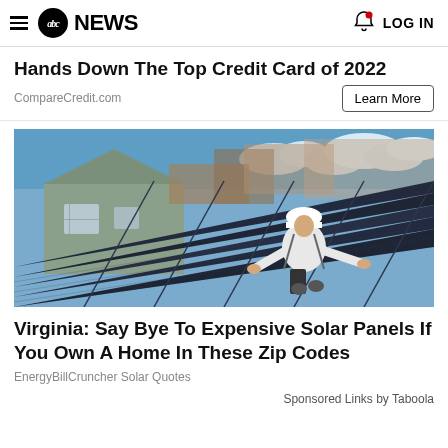abc NEWS  LOG IN
Hands Down The Top Credit Card of 2022
CompareCredit.com
[Figure (photo): A worker in a white hard hat and safety vest installing dark solar panels on a rooftop, with a house and construction materials visible in the background under a blue sky.]
Virginia: Say Bye To Expensive Solar Panels If You Own A Home In These Zip Codes
EnergyBillCruncher Solar Quotes
Sponsored Links by Taboola